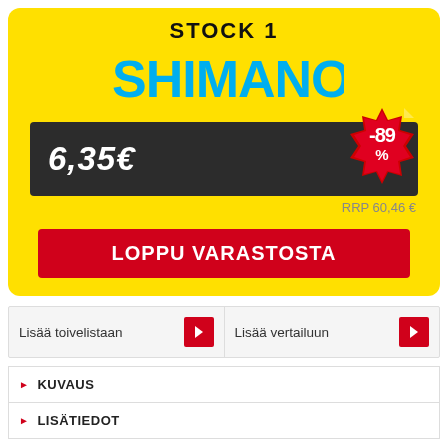STOCK 1
[Figure (logo): Shimano brand logo in blue text]
6,35€
[Figure (infographic): Red discount badge showing -89%]
RRP 60,46 €
LOPPU VARASTOSTA
Lisää toivelistaan
Lisää vertailuun
KUVAUS
LISÄTIEDOT